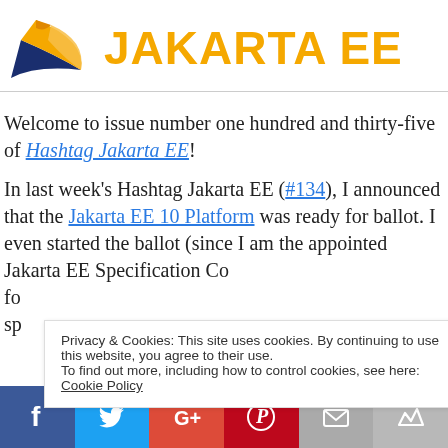[Figure (logo): Jakarta EE logo with sailboat graphic and orange text 'JAKARTA EE']
Welcome to issue number one hundred and thirty-five of Hashtag Jakarta EE!
In last week's Hashtag Jakarta EE (#134), I announced that the Jakarta EE 10 Platform was ready for ballot. I even started the ballot (since I am the appointed Jakarta EE Specification Co... fo... sp...
Privacy & Cookies: This site uses cookies. By continuing to use this website, you agree to their use.
To find out more, including how to control cookies, see here: Cookie Policy